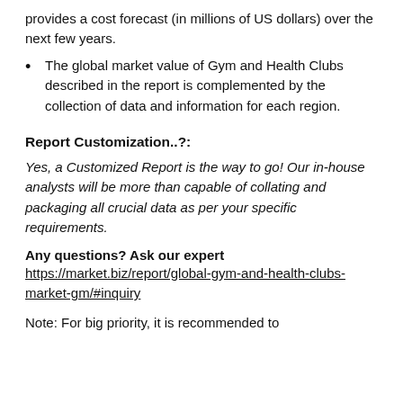provides a cost forecast (in millions of US dollars) over the next few years.
The global market value of Gym and Health Clubs described in the report is complemented by the collection of data and information for each region.
Report Customization..?:
Yes, a Customized Report is the way to go! Our in-house analysts will be more than capable of collating and packaging all crucial data as per your specific requirements.
Any questions? Ask our expert
https://market.biz/report/global-gym-and-health-clubs-market-gm/#inquiry
Note: For big priority, it is recommended to